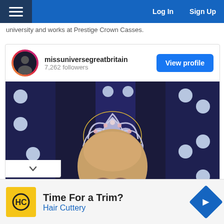Log In   Sign Up
university and works at Prestige Crown Casses.
[Figure (screenshot): Instagram embed card for missuniversegreatbritain with 7,262 followers, a View profile button, and a photo of a woman wearing a crystal crown in front of illuminated UGB letters on a dark background.]
[Figure (photo): Advertisement for Hair Cuttery with HC logo and text 'Time For a Trim?' and 'Hair Cuttery']